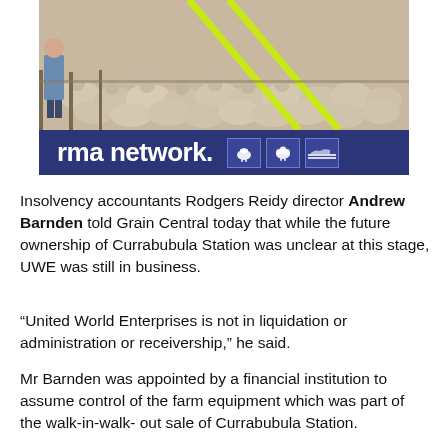[Figure (photo): RMA Network banner showing a crowd of sheep in a pen with a person visible, overlaid with lime-green diagonal graphic lines. Below the photo is a dark navy bar with the text 'rma network.' and three small icon boxes.]
Insolvency accountants Rodgers Reidy director Andrew Barnden told Grain Central today that while the future ownership of Currabubula Station was unclear at this stage, UWE was still in business.
“United World Enterprises is not in liquidation or administration or receivership,” he said.
Mr Barnden was appointed by a financial institution to assume control of the farm equipment which was part of the walk-in-walk-out sale of Currabubula Station.